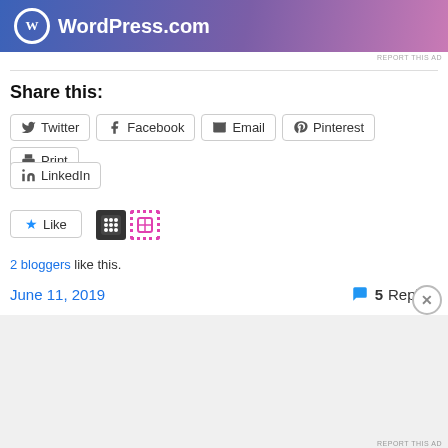[Figure (illustration): WordPress.com advertisement banner with blue-to-pink gradient background and WordPress logo with text]
REPORT THIS AD
Share this:
Twitter  Facebook  Email  Pinterest  Print  LinkedIn
Like  [2 avatar icons]
2 bloggers like this.
June 11, 2019
5 Replies
Advertisements
[Figure (illustration): DuckDuckGo advertisement: orange background with text 'Search, browse, and email with more privacy. All in One Free App' and a phone showing DuckDuckGo logo]